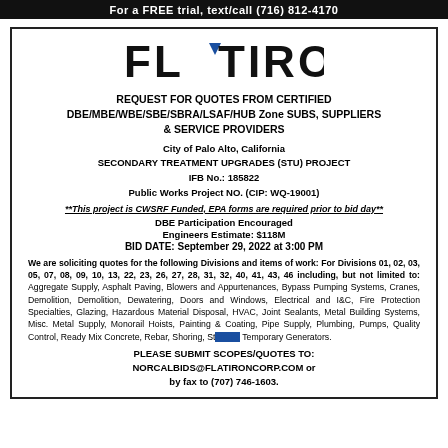For a FREE trial, text/call (716) 812-4170
[Figure (logo): Flatiron company logo with blue triangle replacing the A]
REQUEST FOR QUOTES FROM CERTIFIED
DBE/MBE/WBE/SBE/SBRA/LSAF/HUB Zone SUBS, SUPPLIERS
& SERVICE PROVIDERS
City of Palo Alto, California
SECONDARY TREATMENT UPGRADES (STU) PROJECT
IFB No.: 185822
Public Works Project NO. (CIP: WQ-19001)
**This project is CWSRF Funded, EPA forms are required prior to bid day**
DBE Participation Encouraged
Engineers Estimate: $118M
BID DATE: September 29, 2022 at 3:00 PM
We are soliciting quotes for the following Divisions and items of work: For Divisions 01, 02, 03, 05, 07, 08, 09, 10, 13, 22, 23, 26, 27, 28, 31, 32, 40, 41, 43, 46 including, but not limited to: Aggregate Supply, Asphalt Paving, Blowers and Appurtenances, Bypass Pumping Systems, Cranes, Demolition, Demolition, Dewatering, Doors and Windows, Electrical and I&C, Fire Protection Specialties, Glazing, Hazardous Material Disposal, HVAC, Joint Sealants, Metal Building Systems, Misc. Metal Supply, Monorail Hoists, Painting & Coating, Pipe Supply, Plumbing, Pumps, Quality Control, Ready Mix Concrete, Rebar, Shoring, Storage, Temporary Generators.
PLEASE SUBMIT SCOPES/QUOTES TO:
NORCALBIDS@FLATIRONCORP.COM or
by fax to (707) 746-1603.